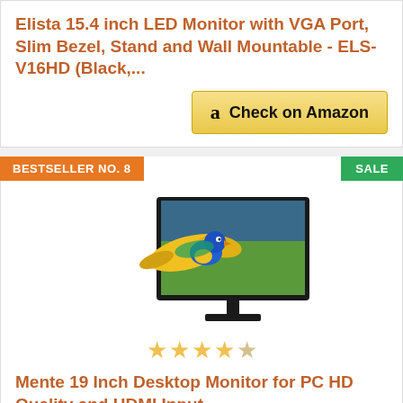Elista 15.4 inch LED Monitor with VGA Port, Slim Bezel, Stand and Wall Mountable - ELS-V16HD (Black,...
[Figure (other): Check on Amazon button with Amazon logo]
BESTSELLER NO. 8
SALE
[Figure (photo): Monitor product image showing a flatscreen desktop monitor with a parrot flying out of the screen displaying tropical imagery]
[Figure (other): 4 out of 5 stars rating (4 filled stars, 1 empty star)]
Mente 19 Inch Desktop Monitor for PC HD Quality and HDMI Input